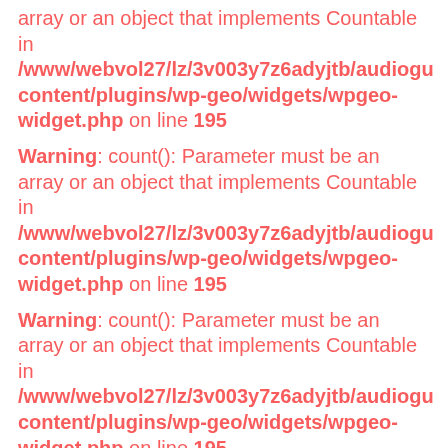array or an object that implements Countable in /www/webvol27/lz/3v003y7z6adyjtb/audiogu content/plugins/wp-geo/widgets/wpgeo-widget.php on line 195
Warning: count(): Parameter must be an array or an object that implements Countable in /www/webvol27/lz/3v003y7z6adyjtb/audiogu content/plugins/wp-geo/widgets/wpgeo-widget.php on line 195
Warning: count(): Parameter must be an array or an object that implements Countable in /www/webvol27/lz/3v003y7z6adyjtb/audiogu content/plugins/wp-geo/widgets/wpgeo-widget.php on line 195
Warning: count(): Parameter must be an array or an object that implements Countable in /www/webvol27/lz/3v003y7z6adyjtb/audiogu